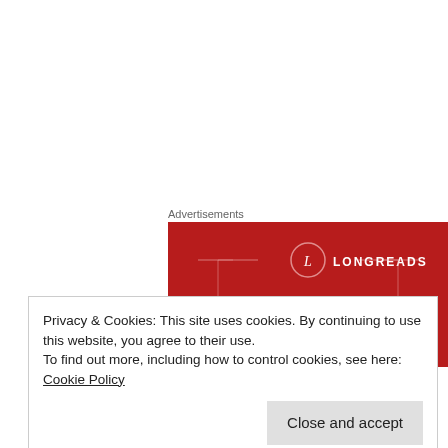Advertisements
[Figure (illustration): Longreads advertisement banner with red background, circular logo with 'L', text 'LONGREADS' and headline 'The best stories on']
L:  And we've got to cross it?
D:  Not today.
Privacy & Cookies: This site uses cookies. By continuing to use this website, you agree to their use.
To find out more, including how to control cookies, see here: Cookie Policy
Close and accept